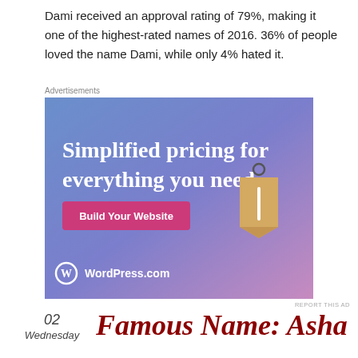Dami received an approval rating of 79%, making it one of the highest-rated names of 2016. 36% of people loved the name Dami, while only 4% hated it.
Advertisements
[Figure (illustration): WordPress.com advertisement banner with gradient blue-to-purple background, price tag graphic, text 'Simplified pricing for everything you need.' and a pink 'Build Your Website' button, with WordPress.com logo at bottom.]
REPORT THIS AD
02
Wednesday
Famous Name: Asha